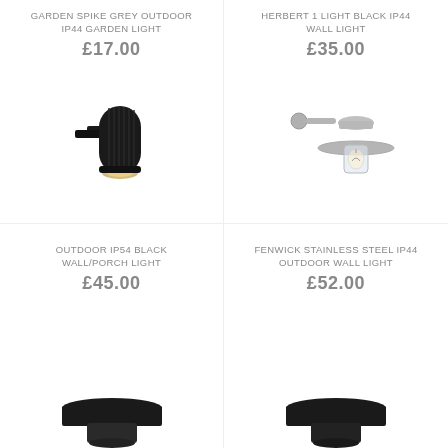GARDEN SPIKE GREY OUTDOOR IP44 GARDEN LIGHT
£17.00
[Figure (photo): Black cylindrical outdoor wall/porch light with ribbed texture and warm light at base]
HERBERT 1 LIGHT BLACK IP44 WALL LIGHT
£35.00
[Figure (photo): Stainless steel outdoor wall light with wide brim shade and clear cylindrical glass diffuser]
OUTDOOR IP54 BLACK WALL/PORCH LIGHT
£45.00
[Figure (photo): Bottom-cropped image of a black outdoor light fixture]
FENWICK STAINLESS STEEL IP44 OUTDOOR WALL LIGHT
£52.00
[Figure (photo): Bottom-cropped image of a dark outdoor wall light fixture]